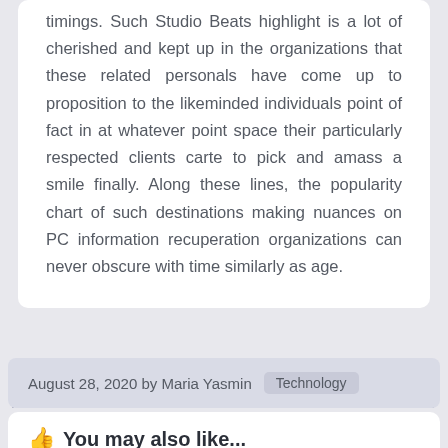timings. Such Studio Beats highlight is a lot of cherished and kept up in the organizations that these related personals have come up to proposition to the likeminded individuals point of fact in at whatever point space their particularly respected clients carte to pick and amass a smile finally. Along these lines, the popularity chart of such destinations making nuances on PC information recuperation organizations can never obscure with time similarly as age.
August 28, 2020 by Maria Yasmin  Technology
You may also like...